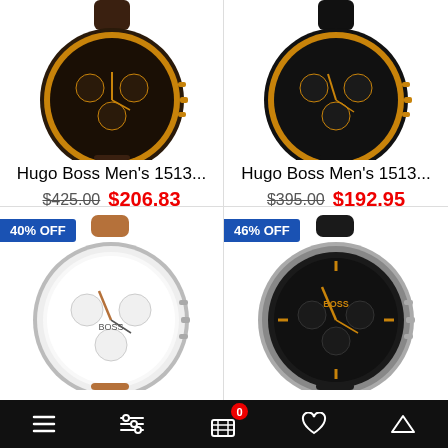[Figure (photo): Hugo Boss men's chronograph watch with rose gold case and brown leather strap, top-down view]
Hugo Boss Men's 1513...
$425.00 $206.83
ADD TO CART
[Figure (photo): Hugo Boss men's chronograph watch with rose gold case and black croc-leather strap]
Hugo Boss Men's 1513...
$395.00 $192.95
ADD TO CART
[Figure (photo): Hugo Boss men's chronograph watch with white dial and tan leather strap, 40% off badge]
[Figure (photo): Hugo Boss men's watch with black dial and dark leather strap, 46% off badge]
Navigation bar with menu, filter, cart (0), wishlist, and scroll-up icons